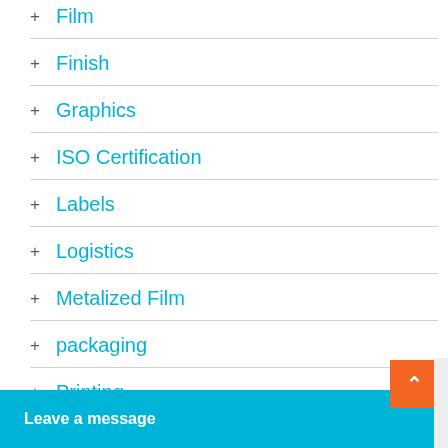+ Film
+ Finish
+ Graphics
+ ISO Certification
+ Labels
+ Logistics
+ Metalized Film
+ packaging
+ Printing
+ Recyclable Mater…
Leave a message